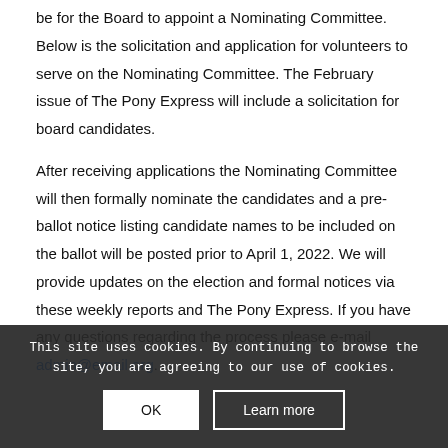be for the Board to appoint a Nominating Committee. Below is the solicitation and application for volunteers to serve on the Nominating Committee. The February issue of The Pony Express will include a solicitation for board candidates.
After receiving applications the Nominating Committee will then formally nominate the candidates and a pre-ballot notice listing candidate names to be included on the ballot will be posted prior to April 1, 2022. We will provide updates on the election and formal notices via these weekly reports and The Pony Express. If you have any questions regarding the process please e-mail admin@email.org.
This site uses cookies. By continuing to browse the site, you are agreeing to our use of cookies.